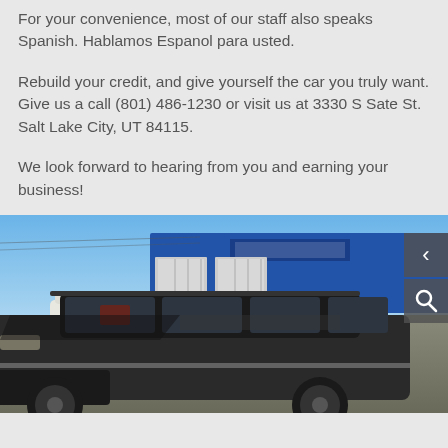For your convenience, most of our staff also speaks Spanish. Hablamos Espanol para usted.
Rebuild your credit, and give yourself the car you truly want. Give us a call (801) 486-1230 or visit us at 3330 S Sate St. Salt Lake City, UT 84115.
We look forward to hearing from you and earning your business!
[Figure (photo): Exterior photo of a car dealership with a blue building facade, and a dark-colored minivan (Chrysler/Dodge) prominently in the foreground in a parking lot. Navigation arrow and search icon visible in top-right corner of image.]